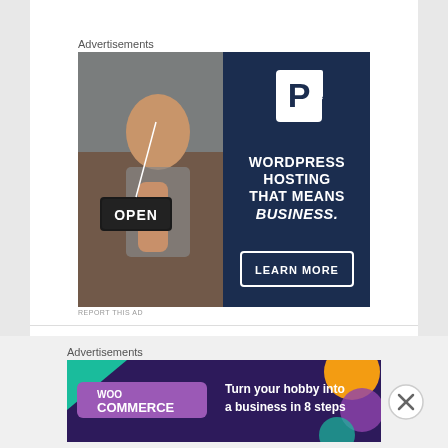Advertisements
[Figure (illustration): WordPress hosting advertisement: left half shows a woman smiling holding an OPEN sign; right half has dark navy background with white 'P' logo, text 'WORDPRESS HOSTING THAT MEANS BUSINESS.' and a 'LEARN MORE' button.]
REPORT THIS AD
Advertisements
[Figure (illustration): WooCommerce horizontal banner advertisement: purple/dark background with WooCommerce logo on left and text 'Turn your hobby into a business in 8 steps' on right with colorful geometric shapes.]
REPORT THIS AD